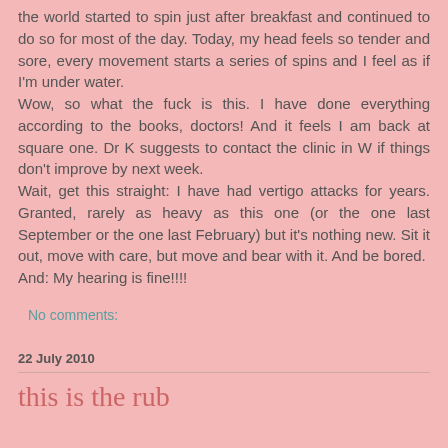the world started to spin just after breakfast and continued to do so for most of the day. Today, my head feels so tender and sore, every movement starts a series of spins and I feel as if I'm under water.
Wow, so what the fuck is this. I have done everything according to the books, doctors! And it feels I am back at square one. Dr K suggests to contact the clinic in W if things don't improve by next week.
Wait, get this straight: I have had vertigo attacks for years. Granted, rarely as heavy as this one (or the one last September or the one last February) but it's nothing new. Sit it out, move with care, but move and bear with it. And be bored.
And: My hearing is fine!!!!
No comments:
22 July 2010
this is the rub